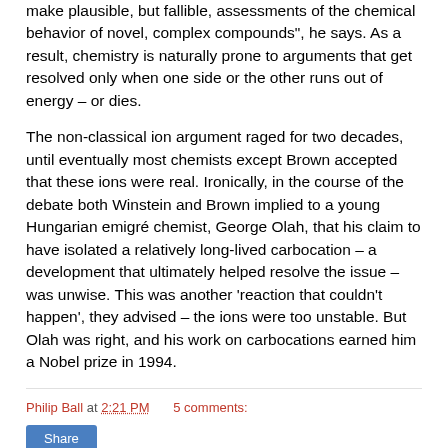make plausible, but fallible, assessments of the chemical behavior of novel, complex compounds", he says. As a result, chemistry is naturally prone to arguments that get resolved only when one side or the other runs out of energy – or dies.
The non-classical ion argument raged for two decades, until eventually most chemists except Brown accepted that these ions were real. Ironically, in the course of the debate both Winstein and Brown implied to a young Hungarian emigré chemist, George Olah, that his claim to have isolated a relatively long-lived carbocation – a development that ultimately helped resolve the issue – was unwise. This was another 'reaction that couldn't happen', they advised – the ions were too unstable. But Olah was right, and his work on carbocations earned him a Nobel prize in 1994.
Philip Ball at 2:21 PM    5 comments: